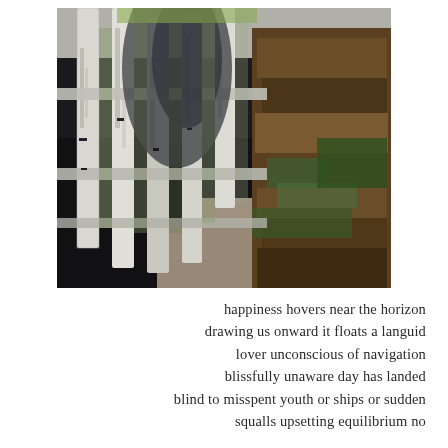[Figure (photo): Outdoor photo showing a weathered white picket fence with chipped paint casting shadows, alongside a large mound of dried autumn leaves and green ground cover, with grass visible in the background on a sunny day.]
happiness hovers near the horizon
drawing us onward it floats a languid
lover unconscious of navigation
blissfully unaware day has landed
blind to misspent youth or ships or sudden
squalls upsetting equilibrium no